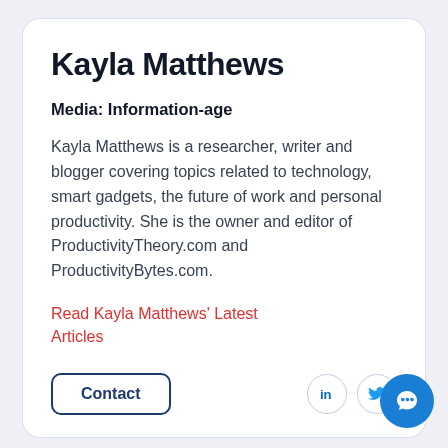Kayla Matthews
Media: Information-age
Kayla Matthews is a researcher, writer and blogger covering topics related to technology, smart gadgets, the future of work and personal productivity. She is the owner and editor of ProductivityTheory.com and ProductivityBytes.com.
Read Kayla Matthews' Latest Articles
Contact